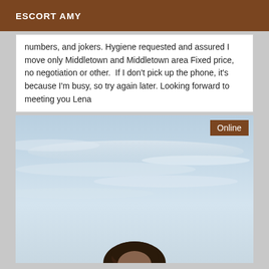ESCORT AMY
numbers, and jokers. Hygiene requested and assured I move only Middletown and Middletown area Fixed price, no negotiation or other.  If I don't pick up the phone, it's because I'm busy, so try again later. Looking forward to meeting you Lena
[Figure (photo): Photo of a person outdoors with a cloudy sky background. An 'Online' badge is shown in the upper right corner of the image.]